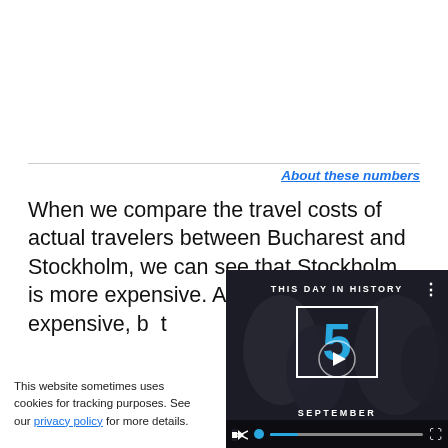About these numbers
When we compare the travel costs of actual travelers between Bucharest and Stockholm, we can see that Stockholm is more expensive. And not less expensive, b...
This website sometimes uses cookies for tracking purposes. See our privacy policy for more details.
[Figure (screenshot): Video overlay showing 'THIS DAY IN HISTORY' with a large number 5 and 'SEPTEMBER' text, with video playback controls at the bottom including mute button and progress bar.]